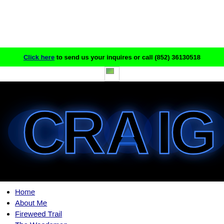Click here to send us your inquires or call (852) 36130518
[Figure (illustration): CRAIG neon glowing text logo on black background with blue glow effect]
Home
About Me
Fireweed Trail
The Woodsman